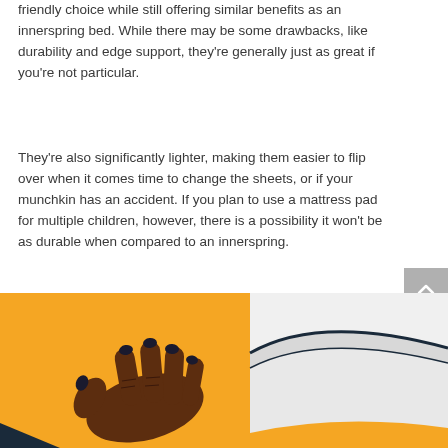friendly choice while still offering similar benefits as an innerspring bed. While there may be some drawbacks, like durability and edge support, they're generally just as great if you're not particular.
They're also significantly lighter, making them easier to flip over when it comes time to change the sheets, or if your munchkin has an accident. If you plan to use a mattress pad for multiple children, however, there is a possibility it won't be as durable when compared to an innerspring.
[Figure (illustration): Illustration of a dark-skinned hand with dark nail polish pressing on an orange foam surface, next to a grey curved mattress cross-section on a white background.]